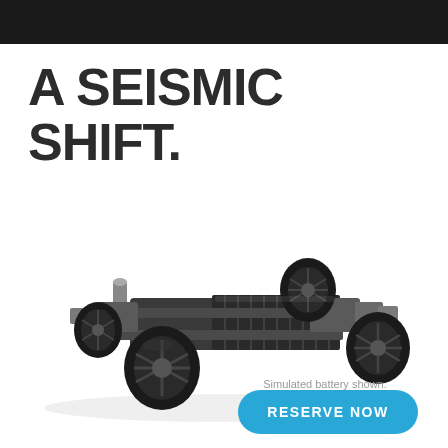A SEISMIC SHIFT.
[Figure (illustration): 3D rendered EV skateboard platform/chassis showing battery pack, four wheels with large tires, front and rear motor assemblies, and structural frame viewed from a three-quarter angle]
Simulated battery shown.
RESERVE NOW